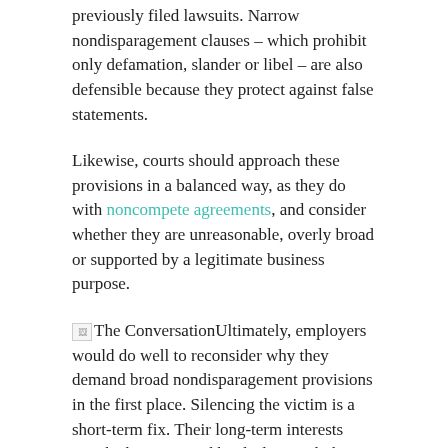previously filed lawsuits. Narrow nondisparagement clauses – which prohibit only defamation, slander or libel – are also defensible because they protect against false statements.
Likewise, courts should approach these provisions in a balanced way, as they do with noncompete agreements, and consider whether they are unreasonable, overly broad or supported by a legitimate business purpose.
Ultimately, employers would do well to reconsider why they demand broad nondisparagement provisions in the first place. Silencing the victim is a short-term fix. Their long-term interests may be better served by dealing with the harasser.
Elizabeth C. Tippett, Associate Professor, School of Law, University of Oregon
This article was originally published on The